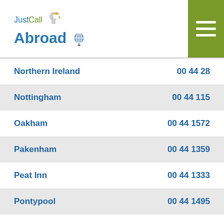JustCall Abroad
Northern Ireland — 00 44 28
Nottingham — 00 44 115
Oakham — 00 44 1572
Pakenham — 00 44 1359
Peat Inn — 00 44 1333
Pontypool — 00 44 1495
Pontypridd — 00 44 1443
Port Ellen — 00 44 1496
Portree — 00 44 1478